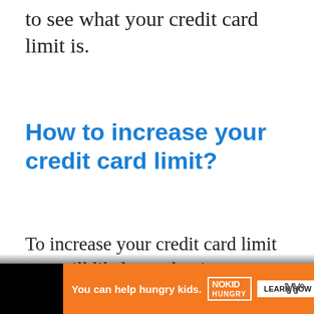to see what your credit card limit is.
How to increase your credit card limit?
To increase your credit card limit you will likely need to improve your credit score so the credit card provider views you as being more creditworthy than when you initially to
[Figure (other): Advertisement banner: orange background with 'You can help hungry kids.' text, No Kid Hungry logo, LEARN HOW button, and site logo on black bar]